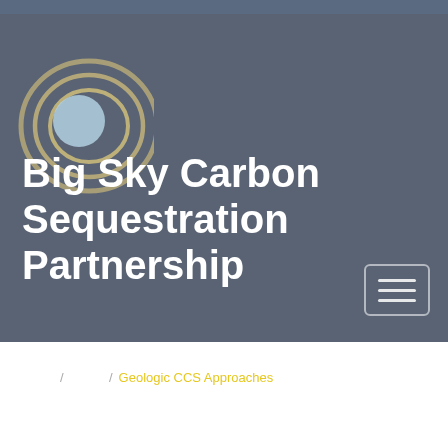[Figure (logo): Circular logo with concentric rings in tan/gold color and a light blue circle in the center]
Big Sky Carbon Sequestration Partnership
/ / Geologic CCS Approaches